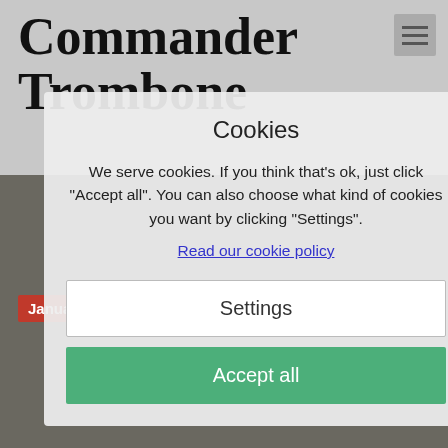Commander Trombone
[Figure (screenshot): Background website with photo of trombone-related products on a table]
Category: Archive Posts
Yamaha Slide Oil
January 28, 2012
Cookies
We serve cookies. If you think that's ok, just click "Accept all". You can also choose what kind of cookies you want by clicking "Settings".
Read our cookie policy
Settings
Accept all